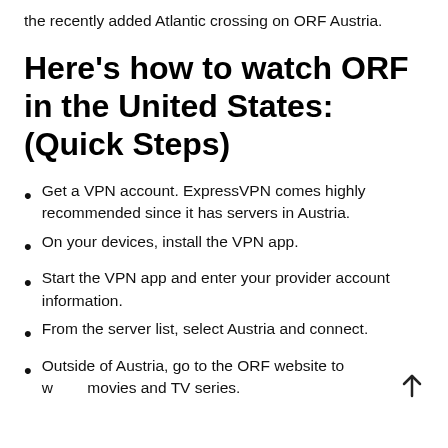the recently added Atlantic crossing on ORF Austria.
Here's how to watch ORF in the United States: (Quick Steps)
Get a VPN account. ExpressVPN comes highly recommended since it has servers in Austria.
On your devices, install the VPN app.
Start the VPN app and enter your provider account information.
From the server list, select Austria and connect.
Outside of Austria, go to the ORF website to w movies and TV series.